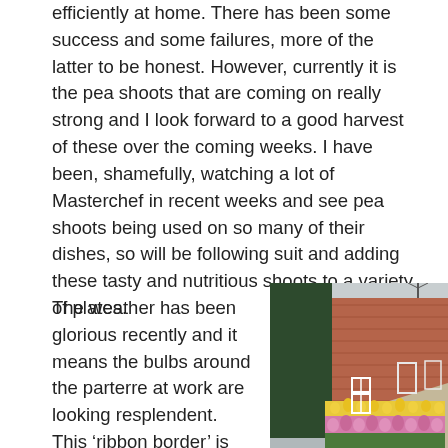efficiently at home. There has been some success and some failures, more of the latter to be honest. However, currently it is the pea shoots that are coming on really strong and I look forward to a good harvest of these over the coming weeks. I have been, shamefully, watching a lot of Masterchef in recent weeks and see pea shoots being used on so many of their dishes, so will be following suit and adding these tasty and nutritious shoots to a variety of plates.
The weather has been glorious recently and it means the bulbs around the parterre at work are looking resplendent. This ‘ribbon border’ is packed full of hyacinths, daffodils
[Figure (photo): A garden path with a colourful ribbon border of yellow daffodils and pink hyacinths in the foreground, flanked by a tall green hedge on the left and a red brick wall in the background. White plant supports/frames are visible along the path. Bare winter trees visible beyond the wall.]